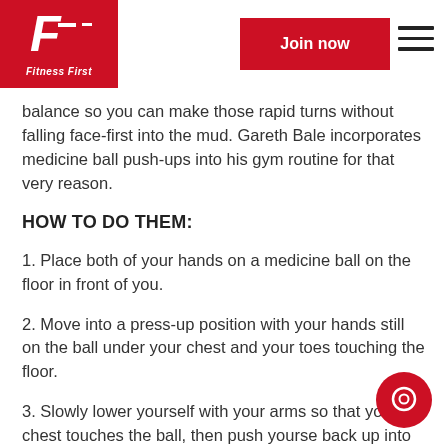Fitness First — Join now
balance so you can make those rapid turns without falling face-first into the mud. Gareth Bale incorporates medicine ball push-ups into his gym routine for that very reason.
HOW TO DO THEM:
1. Place both of your hands on a medicine ball on the floor in front of you.
2. Move into a press-up position with your hands still on the ball under your chest and your toes touching the floor.
3. Slowly lower yourself with your arms so that your chest touches the ball, then push yourself back up into starting position. Apply even pressure through each arm to ensure the ball doesn't roll from under you.